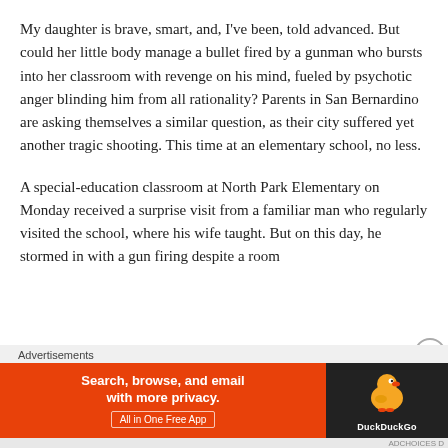My daughter is brave, smart, and, I've been, told advanced. But could her little body manage a bullet fired by a gunman who bursts into her classroom with revenge on his mind, fueled by psychotic anger blinding him from all rationality? Parents in San Bernardino are asking themselves a similar question, as their city suffered yet another tragic shooting. This time at an elementary school, no less.
A special-education classroom at North Park Elementary on Monday received a surprise visit from a familiar man who regularly visited the school, where his wife taught. But on this day, he stormed in with a gun firing despite a room
Advertisements
[Figure (other): DuckDuckGo advertisement banner: orange background on left with text 'Search, browse, and email with more privacy. All in One Free App', dark background on right with DuckDuckGo duck logo and brand name.]